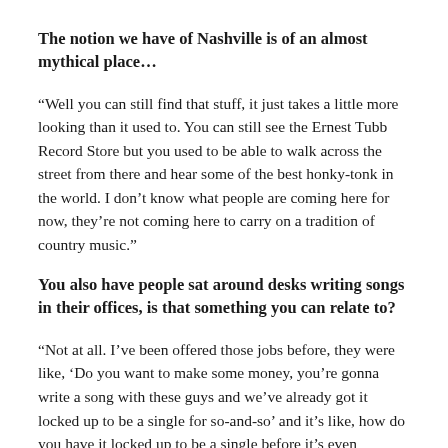The notion we have of Nashville is of an almost mythical place…
“Well you can still find that stuff, it just takes a little more looking than it used to. You can still see the Ernest Tubb Record Store but you used to be able to walk across the street from there and hear some of the best honky-tonk in the world. I don’t know what people are coming here for now, they’re not coming here to carry on a tradition of country music.”
You also have people sat around desks writing songs in their offices, is that something you can relate to?
“Not at all. I’ve been offered those jobs before, they were like, ‘Do you want to make some money, you’re gonna write a song with these guys and we’ve already got it locked up to be a single for so-and-so’ and it’s like, how do you have it locked up to be a single before it’s even written? Songs that are going to last throughout the years, and that are going to mean somethin,g aren’t